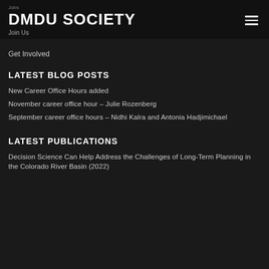Jobs
DMDU SOCIETY
Join Us
Get Involved
LATEST BLOG POSTS
New Career Office Hours added
November career office hour – Julie Rozenberg
September career office hours – Nidhi Kalra and Antonia Hadjimichael
LATEST PUBLICATIONS
Decision Science Can Help Address the Challenges of Long-Term Planning in the Colorado River Basin (2022)